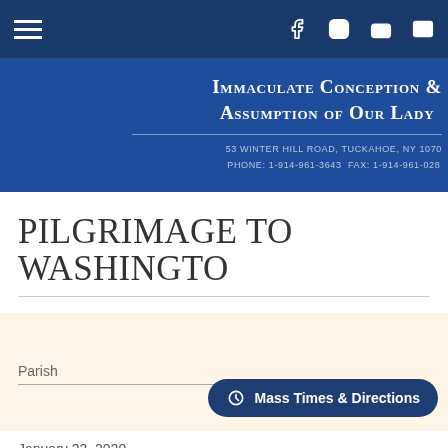Navigation bar with hamburger menu and social icons: Facebook, Instagram, YouTube, Email
Immaculate Conception & Assumption of Our Lady
53 Winter Hill Road, Tuckahoe, NY 1070
Phone: 1-914-961-3643  Fax: 1-914-961-028
Pilgrimage to Washington
Parish
Mass Times & Directions
January 23, 2020